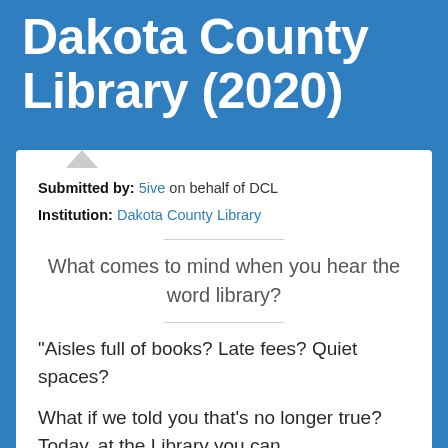Dakota County Library (2020)
Submitted by: 5ive on behalf of DCL
Institution: Dakota County Library
What comes to mind when you hear the word library?
“Aisles full of books? Late fees? Quiet spaces?
What if we told you that’s no longer true? Today, at the Library you can